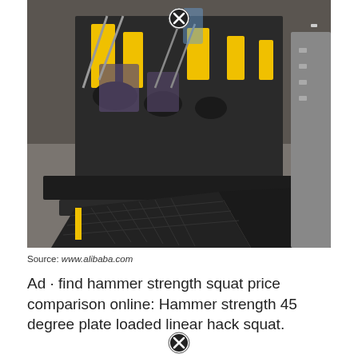[Figure (photo): Photo of black and yellow gym hack squat machines in a warehouse or showroom setting, multiple units visible in a row, taken from a low angle showing the steel frame and footplates.]
Source: www.alibaba.com
Ad · find hammer strength squat price comparison online: Hammer strength 45 degree plate loaded linear hack squat.